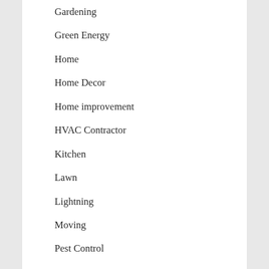Gardening
Green Energy
Home
Home Decor
Home improvement
HVAC Contractor
Kitchen
Lawn
Lightning
Moving
Pest Control